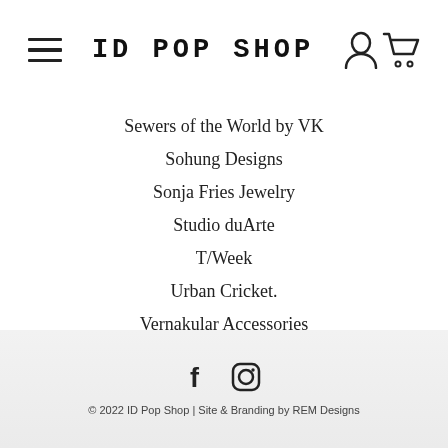ID POP SHOP
Sewers of the World by VK
Sohung Designs
Sonja Fries Jewelry
Studio duArte
T/Week
Urban Cricket.
Vernakular Accessories
Wrecords by Monkey
© 2022 ID Pop Shop | Site & Branding by REM Designs